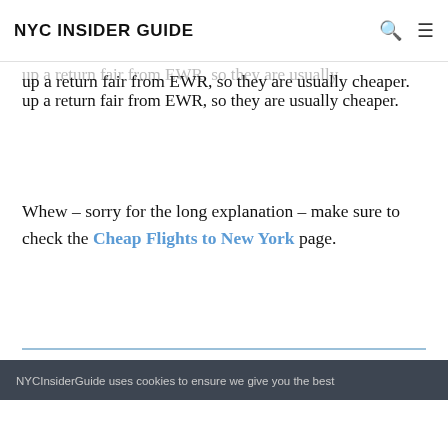NYC INSIDER GUIDE
up a return fair from EWR, so they are usually cheaper.
Whew – sorry for the long explanation – make sure to check the Cheap Flights to New York page.
NYCInsiderGuide uses cookies to ensure we give you the best